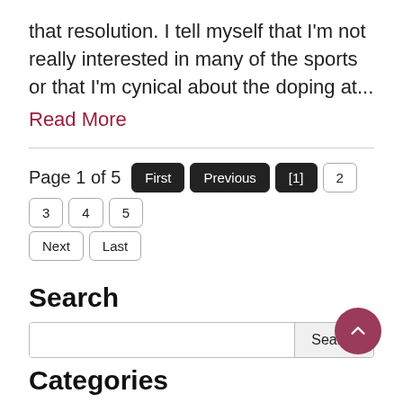that resolution.  I tell myself that I'm not really interested in many of the sports or that I'm cynical about the doping at...
Read More
Page 1 of 5  First  Previous  [1]  2  3  4  5  Next  Last
Search
[Figure (other): Search input box with Search button]
[Figure (other): Back to top button, circular dark rose/mauve color with upward arrow]
Categories